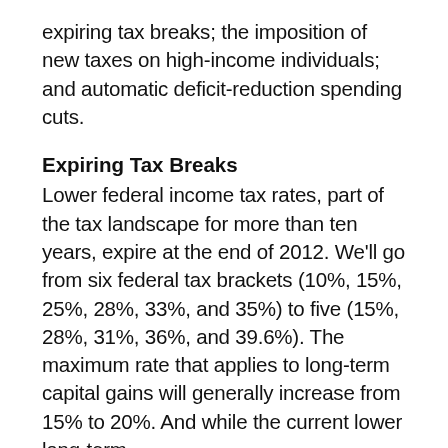expiring tax breaks; the imposition of new taxes on high-income individuals; and automatic deficit-reduction spending cuts.
Expiring Tax Breaks
Lower federal income tax rates, part of the tax landscape for more than ten years, expire at the end of 2012. We'll go from six federal tax brackets (10%, 15%, 25%, 28%, 33%, and 35%) to five (15%, 28%, 31%, 36%, and 39.6%). The maximum rate that applies to long-term capital gains will generally increase from 15% to 20%. And while the current lower long-term